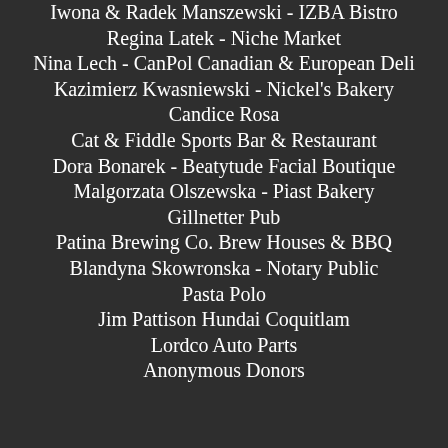Iwona & Radek Manszewski - IZBA Bistro
Regina Latek - Niche Market
Nina Lech - CanPol Canadian & European Deli
Kazimierz Kwasniewski - Nickel's Bakery
Candice Rosa
Cat & Fiddle Sports Bar & Restaurant
Dora Bonarek - Beatytude Facial Boutique
Malgorzata Olszewska - Piast Bakery
Gillnetter Pub
Patina Brewing Co. Brew Houses & BBQ
Blandyna Skowronska - Notary Public
Pasta Polo
Jim Pattison Hundai Coquitlam
Lordco Auto Parts
Anonymous Donors